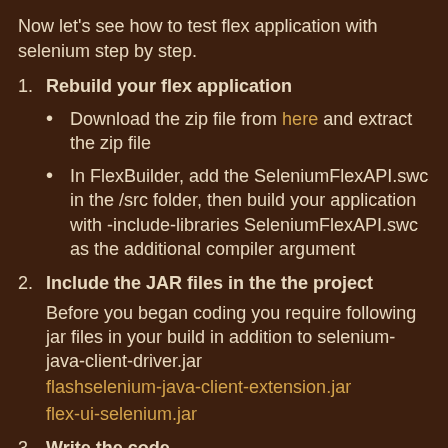Now let's see how to test flex application with selenium step by step.
1. Rebuild your flex application
Download the zip file from here and extract the zip file
In FlexBuilder, add the SeleniumFlexAPI.swc in the /src folder, then build your application with -include-libraries SeleniumFlexAPI.swc as the additional compiler argument
2. Include the JAR files in the the project
Before you began coding you require following jar files in your build in addition to selenium-java-client-driver.jar
flashselenium-java-client-extension.jar
flex-ui-selenium.jar
3. Write the code
okay let's write the code.. no no no hang on !! before we write the code we need to identify the elements of